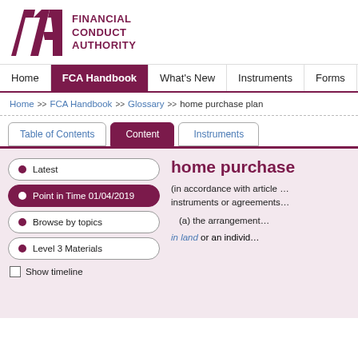[Figure (logo): FCA Financial Conduct Authority logo with geometric FCA lettermark in dark purple/maroon and bold text 'FINANCIAL CONDUCT AUTHORITY']
Home  >>  FCA Handbook  >>  Glossary  >>  home purchase plan
Table of Contents  |  Content  |  Instruments
home purchase
(in accordance with article ... instruments or agreements
(a) the arrangement ...
in land or an individ...